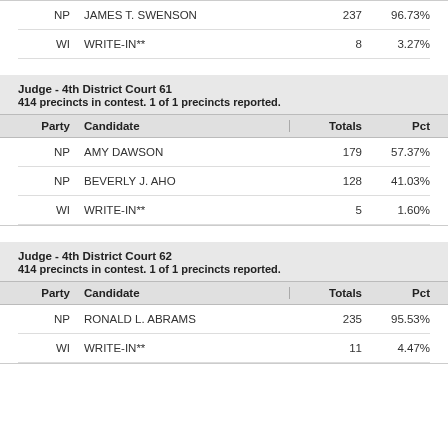| Party | Candidate | Totals | Pct |
| --- | --- | --- | --- |
| NP | JAMES T. SWENSON | 237 | 96.73% |
| WI | WRITE-IN** | 8 | 3.27% |
Judge - 4th District Court 61
414 precincts in contest. 1 of 1 precincts reported.
| Party | Candidate | Totals | Pct |
| --- | --- | --- | --- |
| NP | AMY DAWSON | 179 | 57.37% |
| NP | BEVERLY J. AHO | 128 | 41.03% |
| WI | WRITE-IN** | 5 | 1.60% |
Judge - 4th District Court 62
414 precincts in contest. 1 of 1 precincts reported.
| Party | Candidate | Totals | Pct |
| --- | --- | --- | --- |
| NP | RONALD L. ABRAMS | 235 | 95.53% |
| WI | WRITE-IN** | 11 | 4.47% |